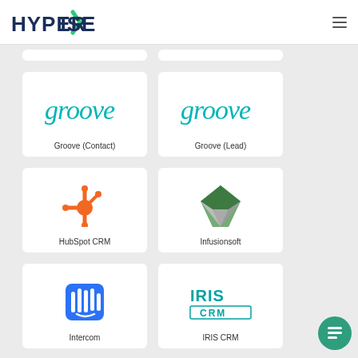HYPERISE
[Figure (logo): Groove (Contact) logo — teal cursive 'groove' text]
Groove (Contact)
[Figure (logo): Groove (Lead) logo — teal cursive 'groove' text]
Groove (Lead)
[Figure (logo): HubSpot CRM logo — orange sprocket icon]
HubSpot CRM
[Figure (logo): Infusionsoft logo — green and grey diamond shapes]
Infusionsoft
[Figure (logo): Intercom logo — blue rounded rectangle with white bars]
Intercom
[Figure (logo): IRIS CRM logo — teal IRIS CRM text in box]
IRIS CRM
[Figure (logo): Partial card bottom left — green icon partially visible]
[Figure (logo): Partial card bottom right — orange icon partially visible]